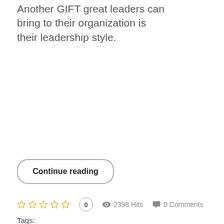Another GIFT great leaders can bring to their organization is their leadership style.
Continue reading
0  2398 Hits  0 Comments
Tags:
#Mark McCatty, #Team Advisor, #organizations, #people, #time
[Figure (other): Social share buttons: Facebook, Twitter, LinkedIn, Pinterest]
[Figure (photo): Small thumbnail image at bottom of article]